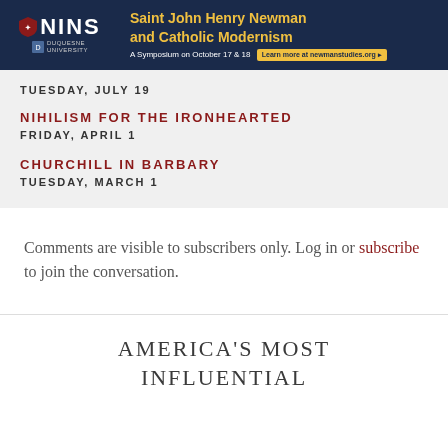[Figure (other): NINS and Duquesne University banner advertisement for Saint John Henry Newman and Catholic Modernism symposium on October 17 & 18, with link to newmanstudies.org]
TUESDAY, JULY 19
NIHILISM FOR THE IRONHEARTED
FRIDAY, APRIL 1
CHURCHILL IN BARBARY
TUESDAY, MARCH 1
Comments are visible to subscribers only. Log in or subscribe to join the conversation.
AMERICA'S MOST INFLUENTIAL